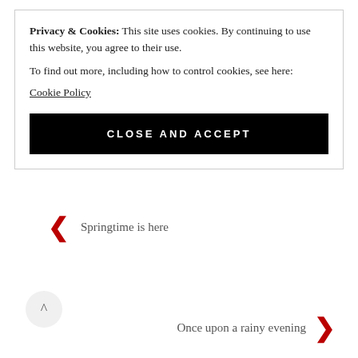Privacy & Cookies: This site uses cookies. By continuing to use this website, you agree to their use.
To find out more, including how to control cookies, see here:
Cookie Policy
CLOSE AND ACCEPT
Springtime is here
Once upon a rainy evening